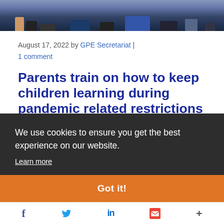[Figure (photo): Top strip showing feet and legs of people sitting, partial photo cropped at top of page]
August 17, 2022 by GPE Secretariat | 1 comment
Parents train on how to keep children learning during pandemic related restrictions in Timor-Leste
T[he article text partially visible, mostly obscured by cookie banner] w... p... sh... so...
We use cookies to ensure you get the best experience on our website. Learn more
Got it!
f [Facebook] [Twitter] in [LinkedIn] [Email] + [More]